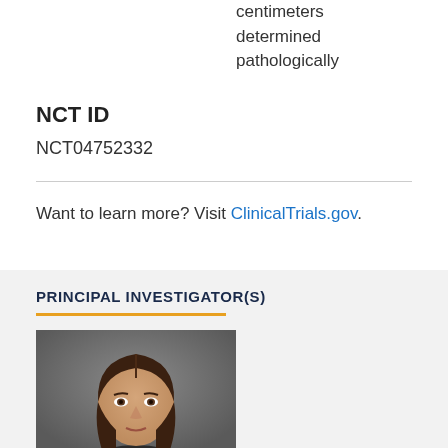centimeters determined pathologically
NCT ID
NCT04752332
Want to learn more? Visit ClinicalTrials.gov.
PRINCIPAL INVESTIGATOR(S)
[Figure (photo): Headshot photo of a woman with long brown hair, professional portrait against a gray background]